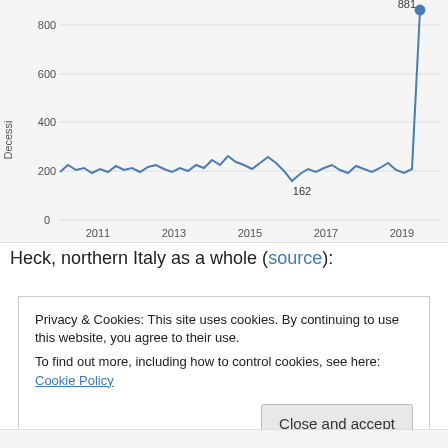[Figure (line-chart): Line chart showing deaths (Decessi) in a northern Italy region from 2010 to 2020, with values fluctuating around 200 and spiking to 881 around 2020. A labeled point at 162 appears around 2017.]
Heck, northern Italy as a whole (source):
Privacy & Cookies: This site uses cookies. By continuing to use this website, you agree to their use. To find out more, including how to control cookies, see here: Cookie Policy